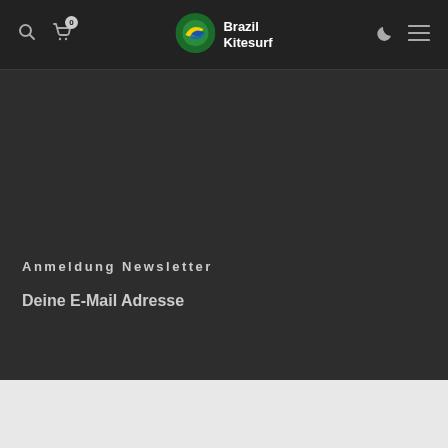Brazil Kitesurf – navigation header with search, cart, logo, dark mode toggle, and menu icons
[Figure (logo): Brazil Kitesurf logo: circular icon with green, yellow, blue wave motif beside bold white text 'Brazil Kitesurf']
Anmeldung Newsletter
Deine E-Mail Adresse